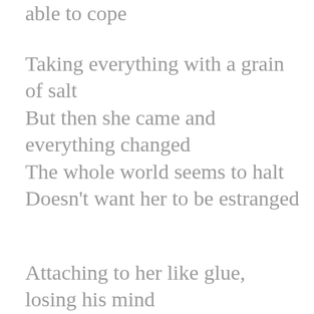able to cope
Taking everything with a grain of salt
But then she came and everything changed
The whole world seems to halt
Doesn't want her to be estranged
Attaching to her like glue,
losing his mind